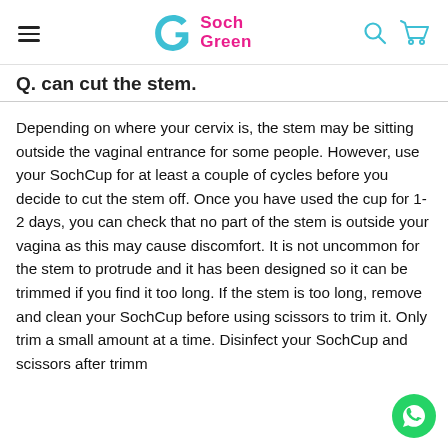SochGreen
Q. can cut the stem.
Depending on where your cervix is, the stem may be sitting outside the vaginal entrance for some people. However, use your SochCup for at least a couple of cycles before you decide to cut the stem off. Once you have used the cup for 1-2 days, you can check that no part of the stem is outside your vagina as this may cause discomfort. It is not uncommon for the stem to protrude and it has been designed so it can be trimmed if you find it too long. If the stem is too long, remove and clean your SochCup before using scissors to trim it. Only trim a small amount at a time. Disinfect your SochCup and scissors after trimming the stem.